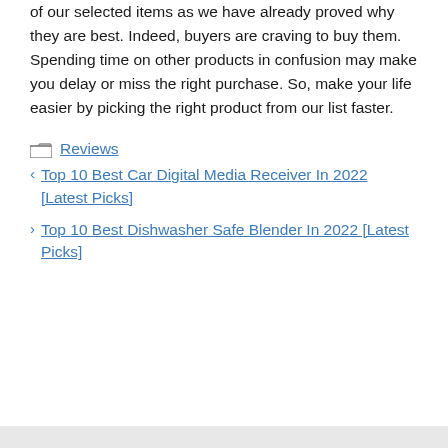of our selected items as we have already proved why they are best. Indeed, buyers are craving to buy them. Spending time on other products in confusion may make you delay or miss the right purchase. So, make your life easier by picking the right product from our list faster.
Reviews
Top 10 Best Car Digital Media Receiver In 2022 [Latest Picks]
Top 10 Best Dishwasher Safe Blender In 2022 [Latest Picks]